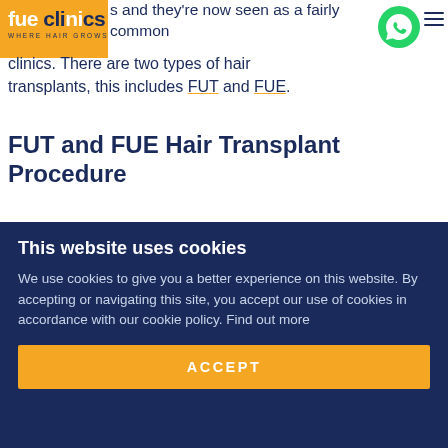FUE Clinics — WHERE HAIR GROWS
s and they're now seen as a fairly common clinics. There are two types of hair transplants, this includes FUT and FUE.
FUT and FUE Hair Transplant Procedure
FUT – Follicular Unit Transfer is one of the 2 primary methods of obtaining follicular units (naturally occuring groups of 1 – 4 hairs) for Hair
This website uses cookies
We use cookies to give you a better experience on this website. By accepting or navigating this site, you accept our use of cookies in accordance with our cookie policy. Find out more
ACCEPT